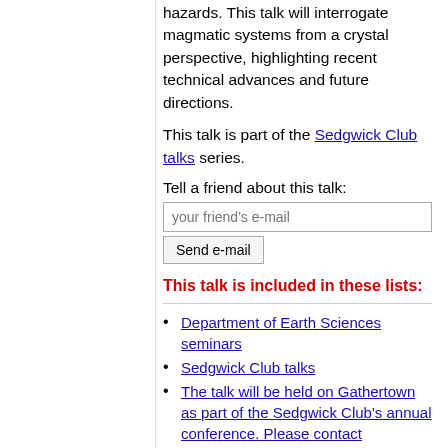hazards. This talk will interrogate magmatic systems from a crystal perspective, highlighting recent technical advances and future directions.
This talk is part of the Sedgwick Club talks series.
Tell a friend about this talk:
This talk is included in these lists:
Department of Earth Sciences seminars
Sedgwick Club talks
The talk will be held on Gathertown as part of the Sedgwick Club's annual conference. Please contact jac293@cam.ac.uk for details